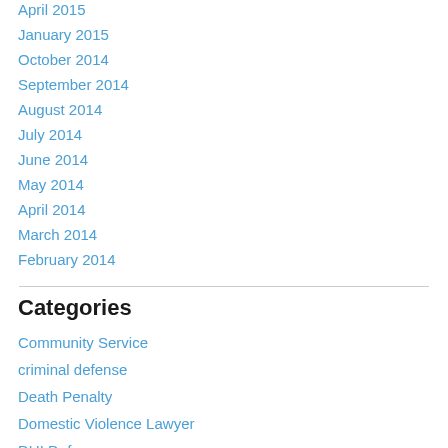April 2015
January 2015
October 2014
September 2014
August 2014
July 2014
June 2014
May 2014
April 2014
March 2014
February 2014
Categories
Community Service
criminal defense
Death Penalty
Domestic Violence Lawyer
DUI Defense